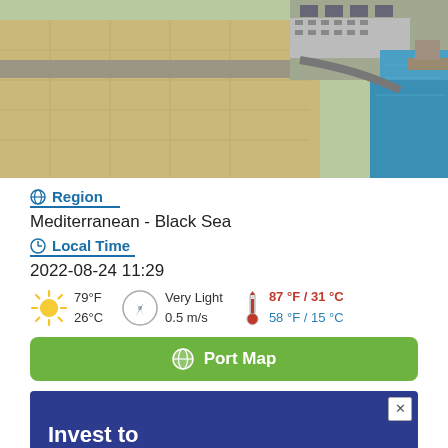[Figure (photo): Aerial view of a port/harbor area showing dry land, roads, parked vehicles, and blue water on the right side]
Region
Mediterranean - Black Sea
Local Time
2022-08-24 11:29
79°F 26°C   Very Light 0.5 m/s   87 °F / 31 °C   58 °F / 15 °C
Port Map
[Figure (screenshot): Advertisement banner with dark blue background showing 'Invest to Win Big' text in white bold letters, with a close button in top right corner]